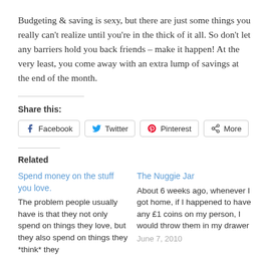Budgeting & saving is sexy, but there are just some things you really can't realize until you're in the thick of it all. So don't let any barriers hold you back friends – make it happen! At the very least, you come away with an extra lump of savings at the end of the month.
Share this:
Facebook  Twitter  Pinterest  More
Related
Spend money on the stuff you love.
The problem people usually have is that they not only spend on things they love, but they also spend on things they *think* they
The Nuggie Jar
About 6 weeks ago, whenever I got home, if I happened to have any £1 coins on my person, I would throw them in my drawer
June 7, 2010